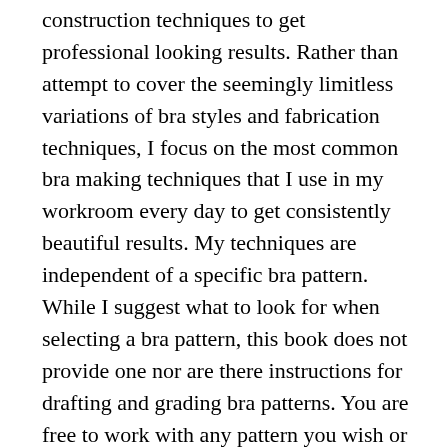construction techniques to get professional looking results. Rather than attempt to cover the seemingly limitless variations of bra styles and fabrication techniques, I focus on the most common bra making techniques that I use in my workroom every day to get consistently beautiful results. My techniques are independent of a specific bra pattern. While I suggest what to look for when selecting a bra pattern, this book does not provide one nor are there instructions for drafting and grading bra patterns. You are free to work with any pattern you wish or draft your own. No book on bra making would be complete without